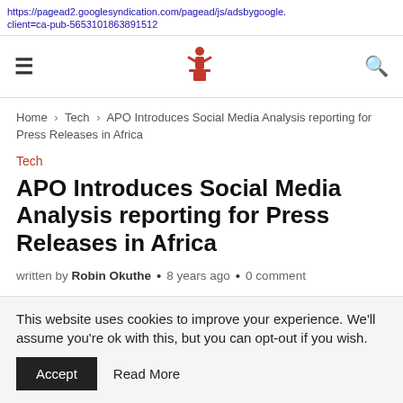https://pagead2.googlesyndication.com/pagead/js/adsbygoogle. client=ca-pub-5653101863891512
[Figure (logo): Red icon of a person at a podium/microphone, site navigation logo]
Home > Tech > APO Introduces Social Media Analysis reporting for Press Releases in Africa
Tech
APO Introduces Social Media Analysis reporting for Press Releases in Africa
written by Robin Okuthe • 8 years ago • 0 comment
This website uses cookies to improve your experience. We'll assume you're ok with this, but you can opt-out if you wish. Accept  Read More